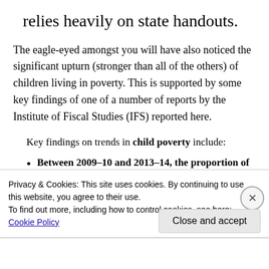relies heavily on state handouts.
The eagle-eyed amongst you will have also noticed the significant upturn (stronger than all of the others) of children living in poverty. This is supported by some key findings of one of a number of reports by the Institute of Fiscal Studies (IFS) reported here.
Key findings on trends in child poverty include:
Between 2009–10 and 2013–14, the proportion of children in workless families fell from 18% to 16%. This reduced absolute child poverty by more
Privacy & Cookies: This site uses cookies. By continuing to use this website, you agree to their use.
To find out more, including how to control cookies, see here: Cookie Policy